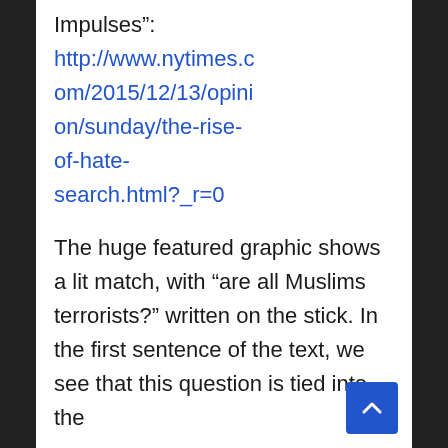Impulses": http://www.nytimes.com/2015/12/13/opinion/sunday/the-rise-of-hate-search.html?_r=0
The huge featured graphic shows a lit match, with “are all Muslims terrorists?” written on the stick. In the first sentence of the text, we see that this question is tied into the